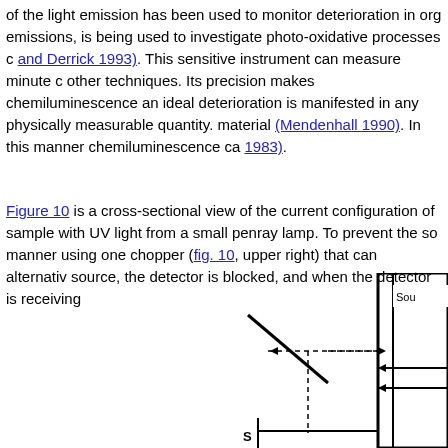of the light emission has been used to monitor deterioration in org emissions, is being used to investigate photo-oxidative processes (and Derrick 1993). This sensitive instrument can measure minute other techniques. Its precision makes chemiluminescence an ideal deterioration is manifested in any physically measurable quantity. material (Mendenhall 1990). In this manner chemiluminescence ca 1983).
Figure 10 is a cross-sectional view of the current configuration of sample with UV light from a small penray lamp. To prevent the so manner using one chopper (fig. 10, upper right) that can alternativ source, the detector is blocked, and when the detector is receiving
[Figure (engineering-diagram): Partial cross-sectional engineering diagram of a chemiluminescence instrument configuration, showing a mirror/reflector element with dashed light path arrows, a Source label, and structural components including walls and a sample holder at bottom.]